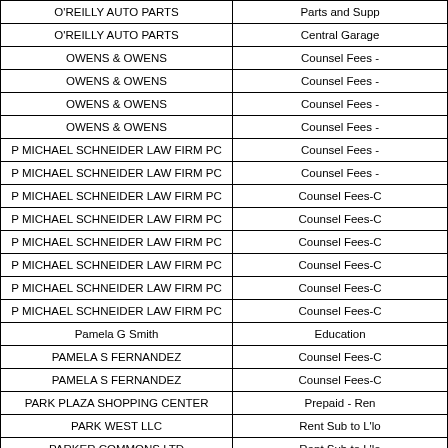| Vendor | Description |
| --- | --- |
| O'REILLY AUTO PARTS | Parts and Supp |
| O'REILLY AUTO PARTS | Central Garage |
| OWENS & OWENS | Counsel Fees -  |
| OWENS & OWENS | Counsel Fees -  |
| OWENS & OWENS | Counsel Fees -  |
| OWENS & OWENS | Counsel Fees -  |
| P MICHAEL SCHNEIDER LAW FIRM PC | Counsel Fees -  |
| P MICHAEL SCHNEIDER LAW FIRM PC | Counsel Fees -  |
| P MICHAEL SCHNEIDER LAW FIRM PC | Counsel Fees-C |
| P MICHAEL SCHNEIDER LAW FIRM PC | Counsel Fees-C |
| P MICHAEL SCHNEIDER LAW FIRM PC | Counsel Fees-C |
| P MICHAEL SCHNEIDER LAW FIRM PC | Counsel Fees-C |
| P MICHAEL SCHNEIDER LAW FIRM PC | Counsel Fees-C |
| P MICHAEL SCHNEIDER LAW FIRM PC | Counsel Fees-C |
| Pamela G Smith | Education |
| PAMELA S FERNANDEZ | Counsel Fees-C |
| PAMELA S FERNANDEZ | Counsel Fees-C |
| PARK PLAZA SHOPPING CENTER | Prepaid - Ren |
| PARK WEST LLC | Rent Sub to L'lo |
| PARKER COMMONS LTD | Rent Sub to L'lo |
| PARKER ELECTRIC | Building Mainten |
| PARKER ELECTRIC | Building Mainten |
| PASCO BROKERAGE INC | Kitchen Suppli |